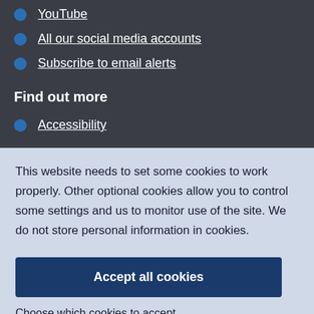YouTube
All our social media accounts
Subscribe to email alerts
Find out more
Accessibility
This website needs to set some cookies to work properly. Other optional cookies allow you to control some settings and us to monitor use of the site. We do not store personal information in cookies.
Accept all cookies
Choose which cookies to accept